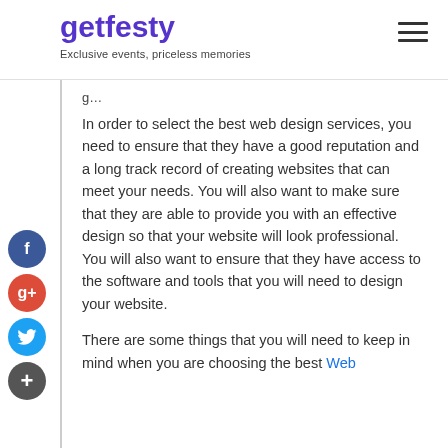getfesty — Exclusive events, priceless memories
g…
In order to select the best web design services, you need to ensure that they have a good reputation and a long track record of creating websites that can meet your needs. You will also want to make sure that they are able to provide you with an effective design so that your website will look professional. You will also want to ensure that they have access to the software and tools that you will need to design your website.
There are some things that you will need to keep in mind when you are choosing the best Web